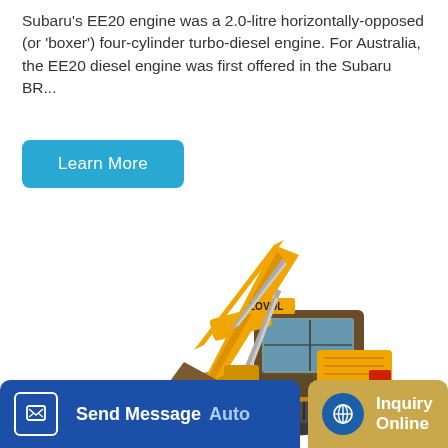Subaru's EE20 engine was a 2.0-litre horizontally-opposed (or 'boxer') four-cylinder turbo-diesel engine. For Australia, the EE20 diesel engine was first offered in the Subaru BR...
Learn More
[Figure (photo): A yellow LOVOL brand tracked excavator with extended arm and bucket, on a white background. The machine has dark brown/grey cab and undercarriage with rubber tracks and a dozer blade at the front.]
Send Message
Auto
Inquiry Online